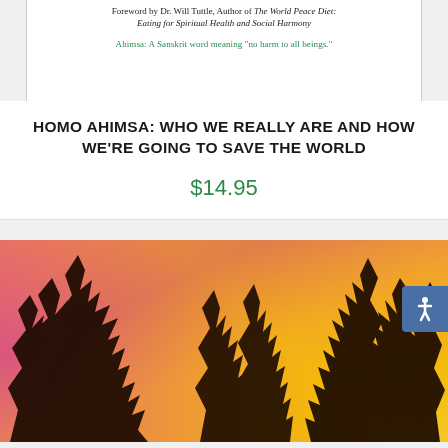[Figure (photo): Partial view of a book cover showing italic subtitle text: 'Foreword by Dr. Will Tuttle, Author of The World Peace Diet: Eating for Spiritual Health and Social Harmony' and a partially visible line in teal/green text beginning 'Ahimsa: A Sanskrit word meaning "no harm to all beings"']
HOMO AHIMSA: WHO WE REALLY ARE AND HOW WE'RE GOING TO SAVE THE WORLD
$14.95
[Figure (photo): A dramatic sunset photo showing dark silhouettes of trees against a vivid orange-yellow and pink-magenta sky, cropped at the bottom of the page.]